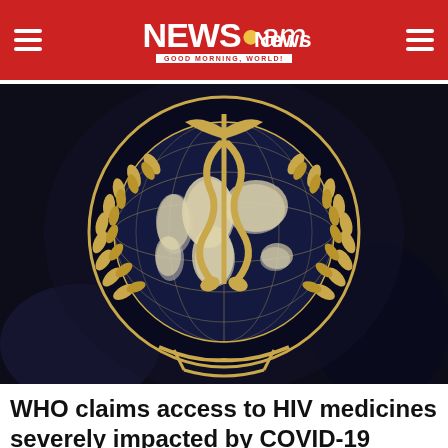NEWS.am — News
[Figure (photo): Close-up photograph of the World Health Organization (WHO) emblem/logo: a gold caduceus (snake-wrapped staff) on a dark globe with latitude/longitude lines showing world map continents, surrounded by gold laurel wreath branches, on a dark blurred background.]
WHO claims access to HIV medicines severely impacted by COVID-19